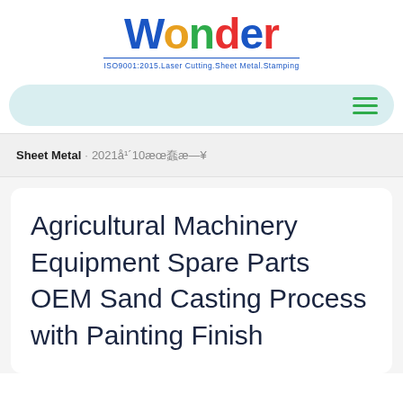[Figure (logo): Wonder company logo with colored letters W(blue) o(orange) n(green) d(red) e(blue) r(red), with tagline 'ISO9001:2015.Laser Cutting.Sheet Metal.Stamping' underlined in blue]
Navigation bar with hamburger menu icon
Sheet Metal · 2021年10月22日
Agricultural Machinery Equipment Spare Parts OEM Sand Casting Process with Painting Finish